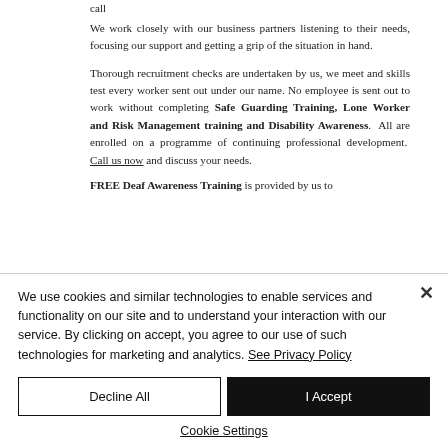call
We work closely with our business partners listening to their needs, focusing our support and getting a grip of the situation in hand.
Thorough recruitment checks are undertaken by us, we meet and skills test every worker sent out under our name. No employee is sent out to work without completing Safe Guarding Training, Lone Worker and Risk Management training and Disability Awareness. All are enrolled on a programme of continuing professional development. Call us now and discuss your needs.
FREE Deaf Awareness Training is provided by us to
We use cookies and similar technologies to enable services and functionality on our site and to understand your interaction with our service. By clicking on accept, you agree to our use of such technologies for marketing and analytics. See Privacy Policy
Decline All
I Accept
Cookie Settings